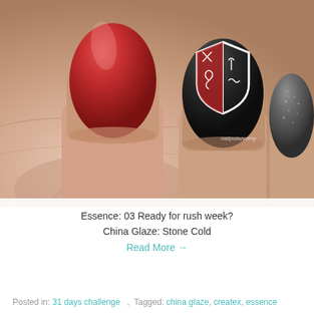[Figure (photo): Close-up photograph of a hand showing painted nails: a deep red/burgundy nail (middle), a black nail with a heraldic shield design stamped in white and red (ring finger), and a gray glitter nail (pinky). Watermark text partially visible on upper right.]
Essence: 03 Ready for rush week?
China Glaze: Stone Cold
Read More →
Posted in: 31 days challenge   ,  Tagged: china glaze, createx, essence